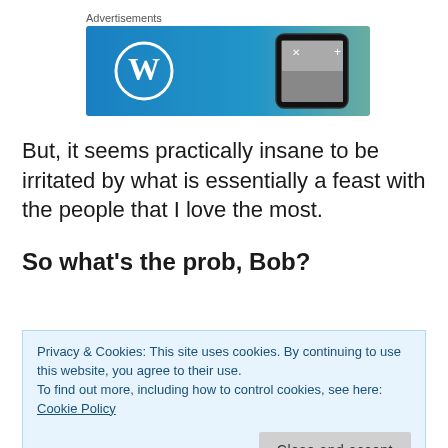Advertisements
[Figure (illustration): WordPress advertisement banner with blue-to-green gradient background, WordPress logo (W in circle) on the left, and a smartphone on the right.]
But, it seems practically insane to be irritated by what is essentially a feast with the people that I love the most.
So what’s the prob, Bob?
Privacy & Cookies: This site uses cookies. By continuing to use this website, you agree to their use.
To find out more, including how to control cookies, see here: Cookie Policy
Close and accept
Pharma-conspiracy-theorist for my taste, but it did